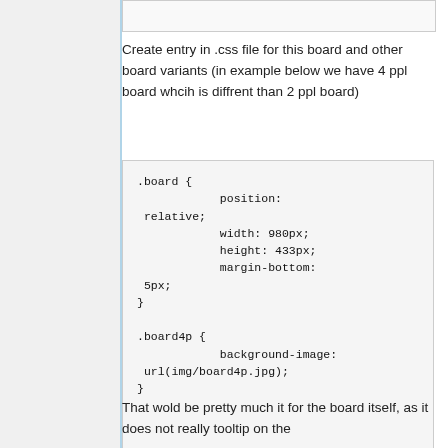Create entry in .css file for this board and other board variants (in example below we have 4 ppl board whcih is diffrent than 2 ppl board)
.board {
            position:
 relative;
            width: 980px;
            height: 433px;
            margin-bottom:
 5px;
}

.board4p {
            background-image:
 url(img/board4p.jpg);
}
That wold be pretty much it for the board itself, as it does not really tooltip on the